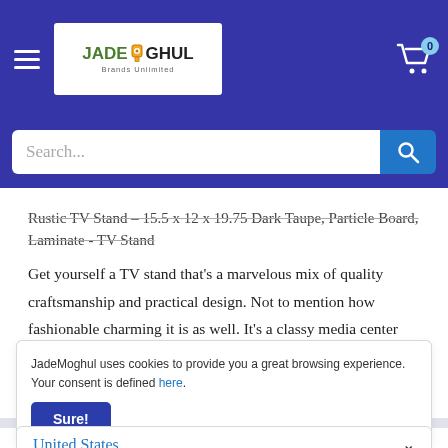[Figure (logo): JadeMoghul logo in white box on blue nav bar]
Search...
Rustic TV Stand - 15.5 x 12 x 19.75 Dark Taupe, Particle Board, Laminate - TV Stand
Get yourself a TV stand that's a marvelous mix of quality craftsmanship and practical design. Not to mention how fashionable charming it is as well. It's a classy media center made from high grade particle board and laminate. There's no better way to intr
JadeMoghul uses cookies to provide you a great browsing experience. Your consent is defined here.
Sure!
United States